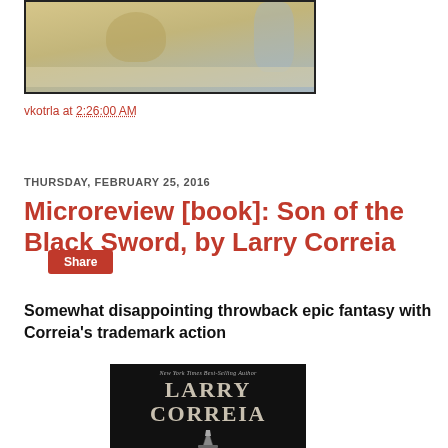[Figure (photo): Top portion of a book cover or illustration with muted sepia/blue tones, partially visible, showing what appears to be a Japanese-style art piece with a mountain or snowy scene.]
vkotrla at 2:26:00 AM
Share
THURSDAY, FEBRUARY 25, 2016
Microreview [book]: Son of the Black Sword, by Larry Correia
Somewhat disappointing throwback epic fantasy with Correia's trademark action
[Figure (photo): Book cover for 'Son of the Black Sword' by Larry Correia. Black background with the author's name 'LARRY CORREIA' in large metallic letters and a sword graphic at the bottom. Text at top reads 'New York Times Best-Selling Author'.]